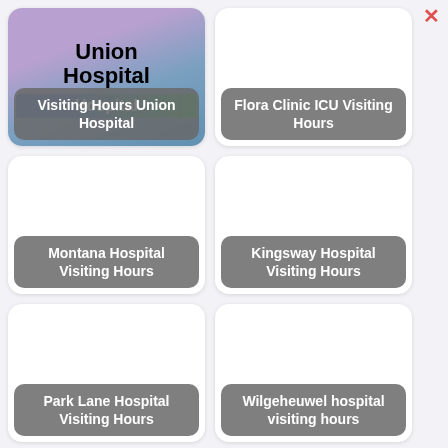[Figure (screenshot): Union Hospital card with purple-green gradient image and 'Union Hospital' text, label 'Visiting Hours Union Hospital']
[Figure (screenshot): Flora Clinic ICU card with white background and gray label 'Flora Clinic ICU Visiting Hours']
[Figure (screenshot): Montana Hospital card with white background and gray label 'Montana Hospital Visiting Hours']
[Figure (screenshot): Kingsway Hospital card with white background and gray label 'Kingsway Hospital Visiting Hours']
[Figure (screenshot): Park Lane Hospital card with white background and gray label 'Park Lane Hospital Visiting Hours']
[Figure (screenshot): Wilgeheuwel hospital card with white background and gray label 'Wilgeheuwel hospital visiting hours']